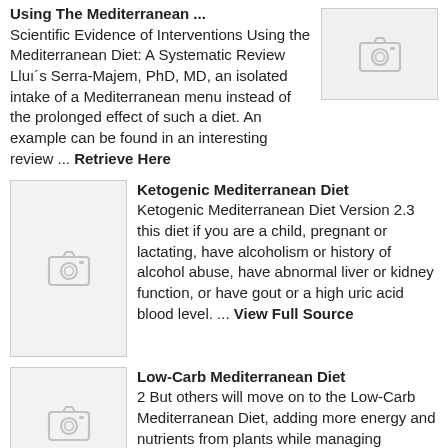Using The Mediterranean ...
Scientific Evidence of Interventions Using the Mediterranean Diet: A Systematic Review Lluı´s Serra-Majem, PhD, MD, an isolated intake of a Mediterranean menu instead of the prolonged effect of such a diet. An example can be found in an interesting review ... Retrieve Here
[Figure (photo): Placeholder thumbnail image with camera icon]
Ketogenic Mediterranean Diet
Ketogenic Mediterranean Diet Version 2.3 this diet if you are a child, pregnant or lactating, have alcoholism or history of alcohol abuse, have abnormal liver or kidney function, or have gout or a high uric acid blood level. ... View Full Source
[Figure (photo): Placeholder thumbnail image with camera icon]
Low-Carb Mediterranean Diet
2 But others will move on to the Low-Carb Mediterranean Diet, adding more energy and nutrients from plants while managing blood sugar levels and weight. ... View Doc
[Figure (photo): Placeholder thumbnail image with camera icon]